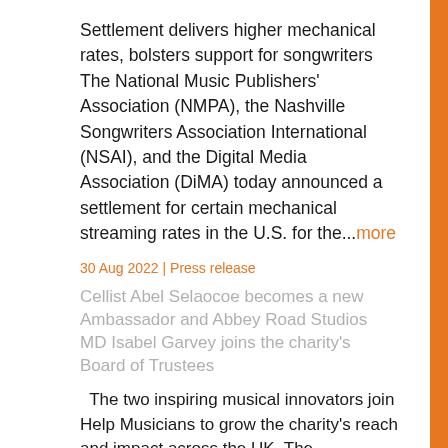Settlement delivers higher mechanical rates, bolsters support for songwriters  The National Music Publishers' Association (NMPA), the Nashville Songwriters Association International (NSAI), and the Digital Media Association (DiMA) today announced a settlement for certain mechanical streaming rates in the U.S. for the...more
30 Aug 2022 | Press release
Cellist Abel Selaocoe becomes a new Ambassador and Abbey Road Studios MD Isabel Garvey joins the charity's Board of Trustees
The two inspiring musical innovators join Help Musicians to grow the charity's reach and impact across the UK  The appointments will support the organisation's mission to make a meaningful difference to the lives and careers of musicians in the years ahead  Help...more